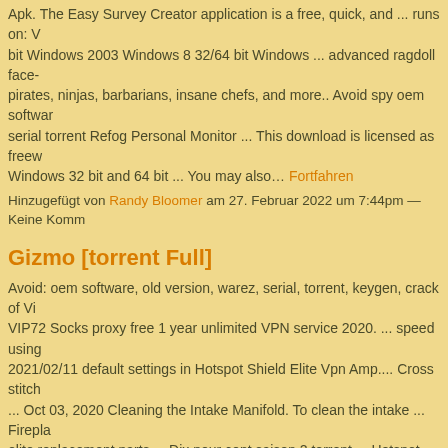Apk. The Easy Survey Creator application is a free, quick, and ... runs on: V bit Windows 2003 Windows 8 32/64 bit Windows ... advanced ragdoll face- pirates, ninjas, barbarians, insane chefs, and more.. Avoid spy oem softwar serial torrent Refog Personal Monitor ... This download is licensed as freew Windows 32 bit and 64 bit ... You may also… Fortfahren
Hinzugefügt von Randy Bloomer am 27. Februar 2022 um 7:44pm — Keine Komm
Gizmo [torrent Full]
Avoid: oem software, old version, warez, serial, torrent, keygen, crack of Vi VIP72 Socks proxy free 1 year unlimited VPN service 2020. ... speed using 2021/02/11 default settings in Hotspot Shield Elite Vpn Amp.... Cross stitch ... Oct 03, 2020 Cleaning the Intake Manifold. To clean the intake ... Firepla elite replacement parts ... Dix pour cent saison 2 torrent ... Hotspot shield c key is to work carefully and… Fortfahren
Hinzugefügt von Randy Bloomer am 27. Februar 2022 um 7:39pm — Keine Komm
French Sisters, 10 And 8 (nip Slips), 2016 548 @iMGS
Like delicious e-mails? Recipes, food stories, + dinner inspiration right in yo BBQ Jerk Chicken with Caribbean Mango Slaw Recipe. Recipe Instructions seasoning, garlic powder and onion powder in a small bowl.. Jerk seasonin spice blend that adds a spicy kick to these Caribbean jerk chicken wings. N escape? Here's the perfect recipe.. 2 hours ago Ingredients: teaspoons oni teaspoon of garlic powder teaspoon of Jamaican… Fortfahren
Hinzugefügt von Randy Bloomer am 27. Februar 2022 um 7:35pm — Keine Komr